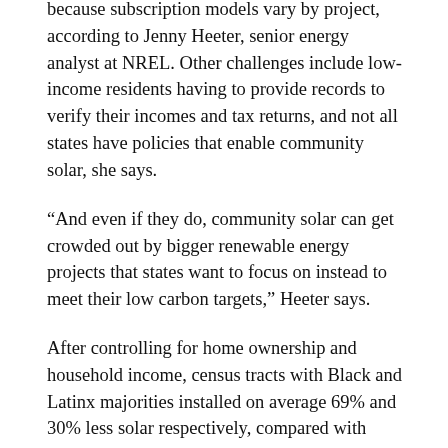because subscription models vary by project, according to Jenny Heeter, senior energy analyst at NREL. Other challenges include low-income residents having to provide records to verify their incomes and tax returns, and not all states have policies that enable community solar, she says.
“And even if they do, community solar can get crowded out by bigger renewable energy projects that states want to focus on instead to meet their low carbon targets,” Heeter says.
After controlling for home ownership and household income, census tracts with Black and Latinx majorities installed on average 69% and 30% less solar respectively, compared with tracts with no racial majority, researchers at Tufts University and the University of California, Berkeley say in a 2019 report. White-majority census tracts had installed 21% more solar. The lack of racial diversity in the renewable